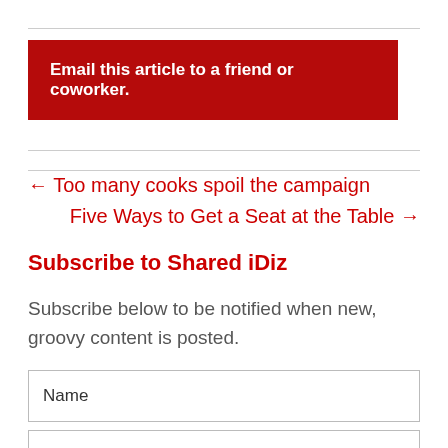Email this article to a friend or coworker.
← Too many cooks spoil the campaign
Five Ways to Get a Seat at the Table →
Subscribe to Shared iDiz
Subscribe below to be notified when new, groovy content is posted.
Name
Email